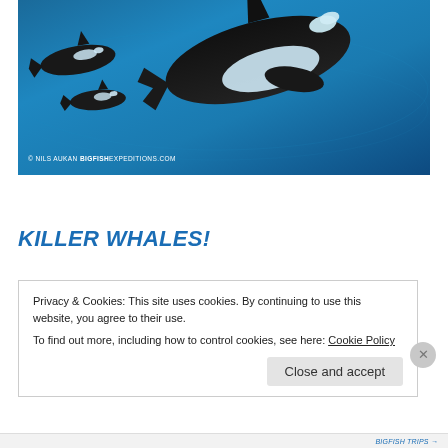[Figure (photo): Underwater photograph of killer whales (orcas) swimming in blue ocean water. A large orca dominates the right side with distinctive black and white markings, while smaller orcas are visible in the background to the left.]
© NILS AUKAN BIGFISHEXPEDITIONS.COM
KILLER WHALES!
Privacy & Cookies: This site uses cookies. By continuing to use this website, you agree to their use.
To find out more, including how to control cookies, see here: Cookie Policy
BIGFISH TRIPS →